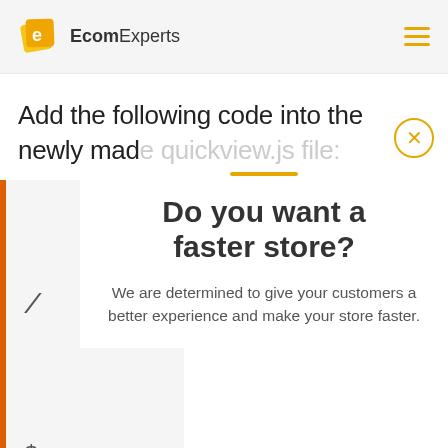[Figure (logo): EcomExperts logo with yellow diamond/shield icon and text 'EcomExperts' in bold/normal weight]
Add the following code into the newly made quickview.js file:
Do you want a faster store?
We are determined to give your customers a better experience and make your store faster.